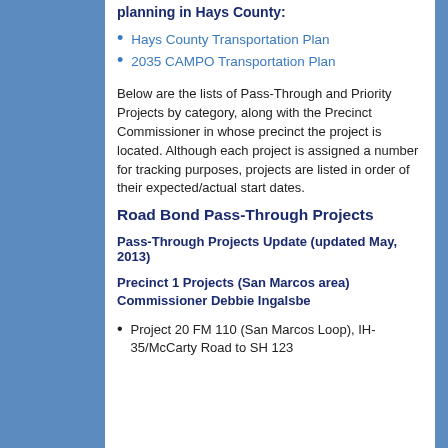planning in Hays County:
Hays County Transportation Plan
2035 CAMPO Transportation Plan
Below are the lists of Pass-Through and Priority Projects by category, along with the Precinct Commissioner in whose precinct the project is located. Although each project is assigned a number for tracking purposes, projects are listed in order of their expected/actual start dates.
Road Bond Pass-Through Projects
Pass-Through Projects Update (updated May, 2013)
Precinct 1 Projects (San Marcos area) Commissioner Debbie Ingalsbe
Project 20 FM 110 (San Marcos Loop), IH-35/McCarty Road to SH 123